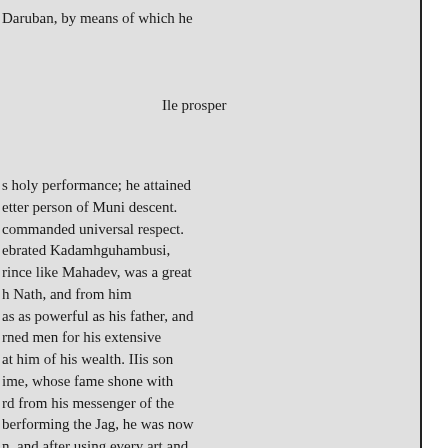Daruban, by means of which he

Ile prosper

s holy performance; he attained
etter person of Muni descent.
commanded universal respect.
ebrated Kadamhguhambusi,
rince like Mahadev, was a great
h Nath, and from him
as as powerful as his father, and
rned men for his extensive
at him of his wealth. IIis son
ime, whose fame shone with
rd from his messenger of the
berforming the Jag, he was now
n, and after using every art and
* The wise and well educated
ce. This most virtuous and
cleverest man of his age,
nd haying retired to a solitary